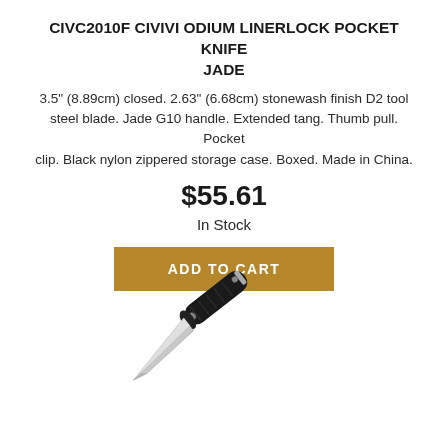CIVC2010F CIVIVI ODIUM LINERLOCK POCKET KNIFE JADE
3.5" (8.89cm) closed. 2.63" (6.68cm) stonewash finish D2 tool steel blade. Jade G10 handle. Extended tang. Thumb pull. Pocket clip. Black nylon zippered storage case. Boxed. Made in China.
$55.61
In Stock
ADD TO CART
[Figure (photo): A folding pocket knife with a black G10 handle and a silver stonewash finish blade, shown open at an angle against a white background.]